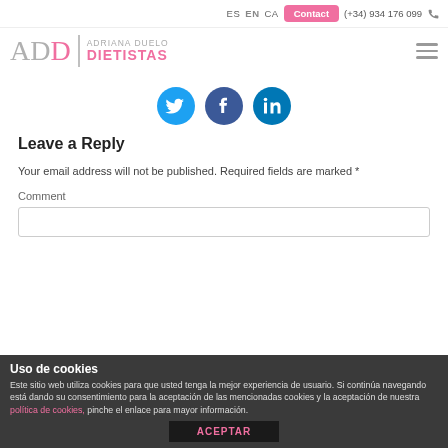ES  EN  CA  Contact  (+34) 934 176 099
[Figure (logo): ADD | Adriana Duelo Dietistas logo with grey and pink lettering and hamburger menu icon]
[Figure (other): Social media icons: Twitter (blue circle), Facebook (dark blue circle), LinkedIn (dark teal circle)]
Leave a Reply
Your email address will not be published. Required fields are marked *
Comment
Uso de cookies
Este sitio web utiliza cookies para que usted tenga la mejor experiencia de usuario. Si continúa navegando está dando su consentimiento para la aceptación de las mencionadas cookies y la aceptación de nuestra política de cookies, pinche el enlace para mayor información.
ACEPTAR